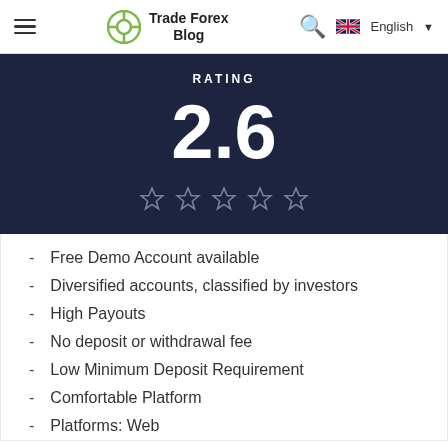Trade Forex Blog
RATING
2.6
★★★★★ (empty stars)
Free Demo Account available
Diversified accounts, classified by investors
High Payouts
No deposit or withdrawal fee
Low Minimum Deposit Requirement
Comfortable Platform
Platforms: Web